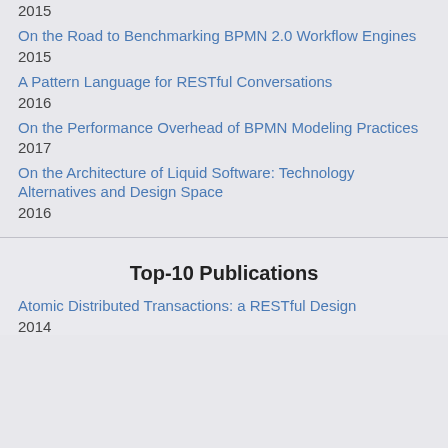2015
On the Road to Benchmarking BPMN 2.0 Workflow Engines
2015
A Pattern Language for RESTful Conversations
2016
On the Performance Overhead of BPMN Modeling Practices
2017
On the Architecture of Liquid Software: Technology Alternatives and Design Space
2016
Top-10 Publications
Atomic Distributed Transactions: a RESTful Design
2014